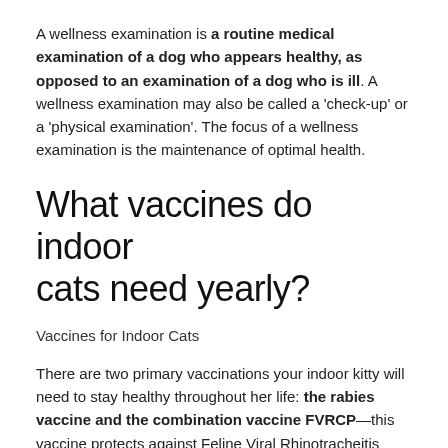A wellness examination is a routine medical examination of a dog who appears healthy, as opposed to an examination of a dog who is ill. A wellness examination may also be called a 'check-up' or a 'physical examination'. The focus of a wellness examination is the maintenance of optimal health.
What vaccines do indoor cats need yearly?
Vaccines for Indoor Cats
There are two primary vaccinations your indoor kitty will need to stay healthy throughout her life: the rabies vaccine and the combination vaccine FVRCP—this vaccine protects against Feline Viral Rhinotracheitis (feline herpes), Panleukopenia virus (feline distemper)